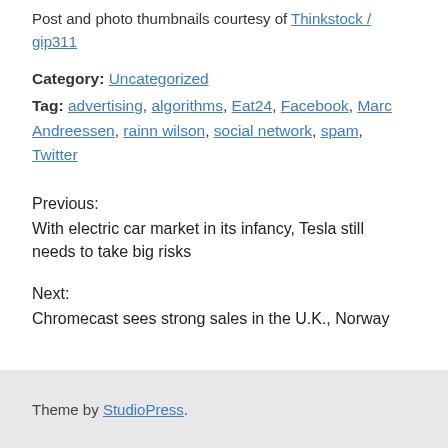Post and photo thumbnails courtesy of Thinkstock / gip311
Category: Uncategorized
Tag: advertising, algorithms, Eat24, Facebook, Marc Andreessen, rainn wilson, social network, spam, Twitter
Previous:
With electric car market in its infancy, Tesla still needs to take big risks
Next:
Chromecast sees strong sales in the U.K., Norway
Theme by StudioPress.